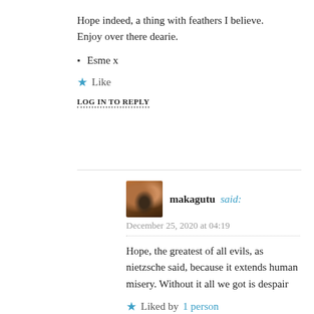Hope indeed, a thing with feathers I believe. Enjoy over there dearie.
Esme x
Like
LOG IN TO REPLY
makagutu said:
December 25, 2020 at 04:19
Hope, the greatest of all evils, as nietzsche said, because it extends human misery. Without it all we got is despair
Liked by 1 person
LOG IN TO REPLY